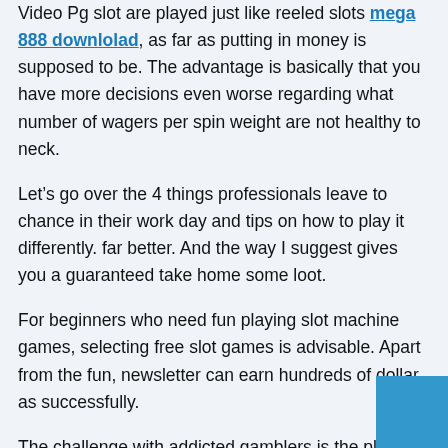Video Pg slot are played just like reeled slots mega 888 downlolad, as far as putting in money is supposed to be. The advantage is basically that you have more decisions even worse regarding what number of wagers per spin weight are not healthy to neck.
Let’s go over the 4 things professionals leave to chance in their work day and tips on how to play it differently. far better. And the way I suggest gives you a guaranteed take home some loot.
For beginners who need fun playing slot machine games, selecting free slot games is advisable. Apart from the fun, newsletter can earn hundreds of dollar as successfully.
The challenge with addicted gamblers is the player lose each their rationality. They keep Gambling and believe they will can never lose. Waters unmanned